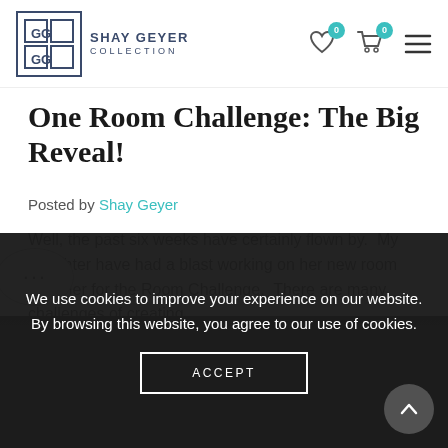Shay Geyer Collection
One Room Challenge: The Big Reveal!
Posted by Shay Geyer
Well, the past six weeks have certainly flown by. My daughter have had a blast working on her new room together for the Room Challenge. There are many challenges of creating…
Read More
[Figure (photo): Dark interior room photo strip at bottom of page]
We use cookies to improve your experience on our website. By browsing this website, you agree to our use of cookies.
ACCEPT